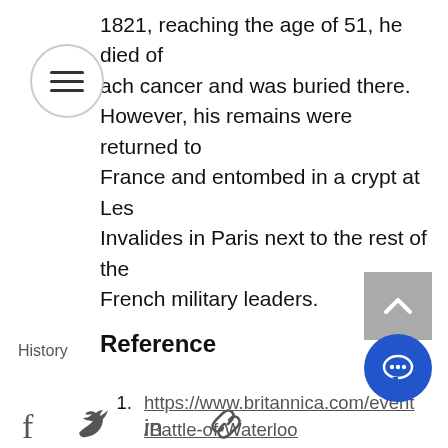1821, reaching the age of 51, he died of stomach cancer and was buried there. However, his remains were returned to France and entombed in a crypt at Les Invalides in Paris next to the rest of the French military leaders.
Reference
https://www.britannica.com/event/Battle-of-Waterloo
https://www.nationalgeographic.com/news/2015/06/150616-waterloo-napoleon-wellington-history-world-ngbooktalk/
History